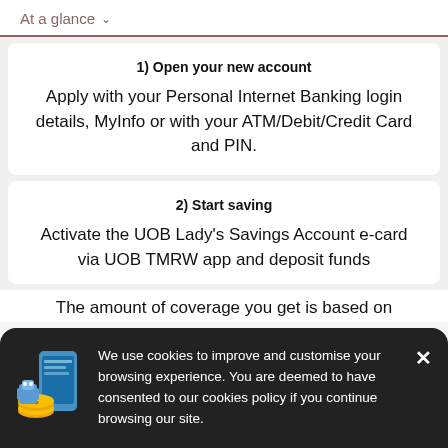At a glance
1) Open your new account

Apply with your Personal Internet Banking login details, MyInfo or with your ATM/Debit/Credit Card and PIN.
2) Start saving

Activate the UOB Lady's Savings Account e-card via UOB TMRW app and deposit funds
We use cookies to improve and customise your browsing experience. You are deemed to have consented to our cookies policy if you continue browsing our site.
The amount of coverage you get is based on